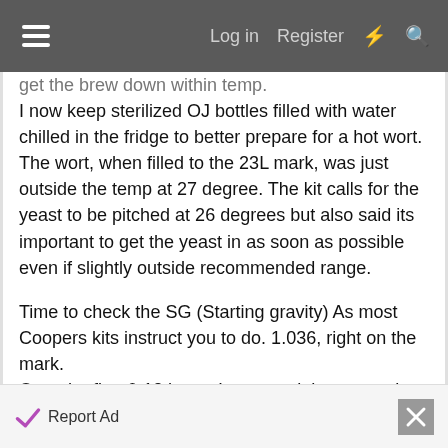Log in  Register
get the brew down within temp.
I now keep sterilized OJ bottles filled with water chilled in the fridge to better prepare for a hot wort.
The wort, when filled to the 23L mark, was just outside the temp at 27 degree. The kit calls for the yeast to be pitched at 26 degrees but also said its important to get the yeast in as soon as possible even if slightly outside recommended range.
Time to check the SG (Starting gravity) As most Coopers kits instruct you to do. 1.036, right on the mark.
Over the first 6-12 hours I expected the wort to be in full swing but it was just plodding along. Most people when first brewing think the yeast will be raging and
Report Ad